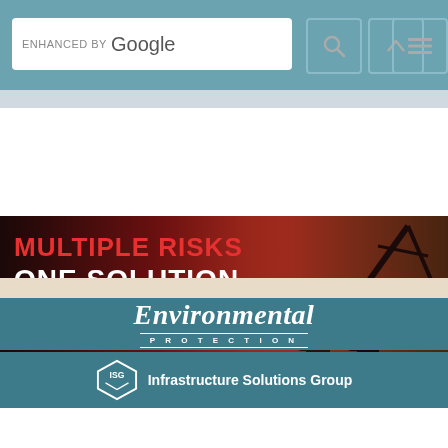[Figure (screenshot): Website header with Google search bar, search icon, up arrow icon, and hamburger menu icon on a teal background]
[Figure (illustration): Banner ad: MULTIPLE RISKS ONE SOLUTION — Transition from single gas to the Honeywell BW Icon multi-gas detector, with silhouetted workers against orange-red background]
[Figure (logo): Environmental Protection magazine logo — italic serif text with PROTECTION in small caps below]
[Figure (logo): Infrastructure Solutions Group logo with geometric ISG icon]
[Figure (infographic): Social sharing bar: 0 Shares, email, SMS, LinkedIn, Facebook, Twitter, and crown (Monarch) share buttons]